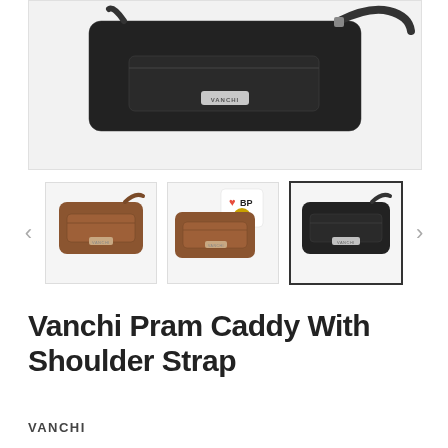[Figure (photo): Main product image of a black Vanchi Pram Caddy bag with shoulder strap, showing top portion against a light grey background]
[Figure (photo): Thumbnail carousel showing three product images: brown bag front view, brown bag side view with award sticker, and black bag front view (currently selected with border)]
Vanchi Pram Caddy With Shoulder Strap
VANCHI